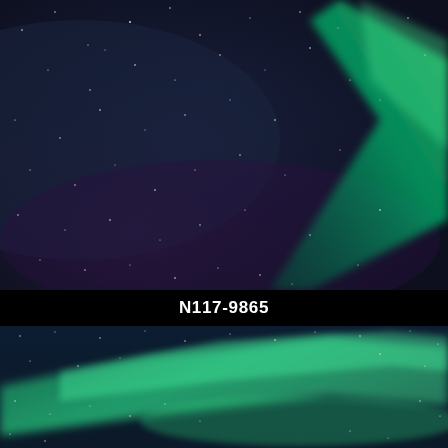[Figure (photo): Night sky photograph showing aurora borealis (northern lights) with a green diagonal band against a dark navy/purple starry sky. Numerous stars visible throughout.]
N117-9865
[Figure (photo): Night sky photograph showing aurora borealis (northern lights) with green and teal glowing bands across a dark blue starry sky, lower portion of the aurora display.]